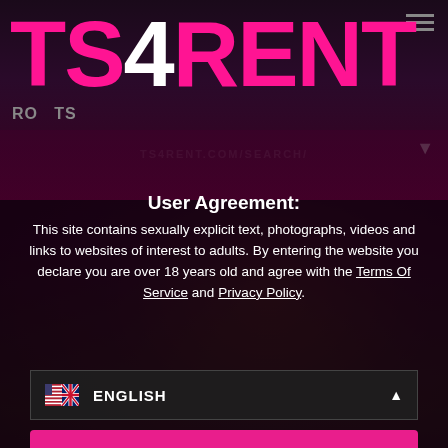TS4RENT
User Agreement:
This site contains sexually explicit text, photographs, videos and links to websites of interest to adults. By entering the website you declare you are over 18 years old and agree with the Terms Of Service and Privacy Policy.
ENGLISH
ENTER TS4RENT
I disagree - leave the website